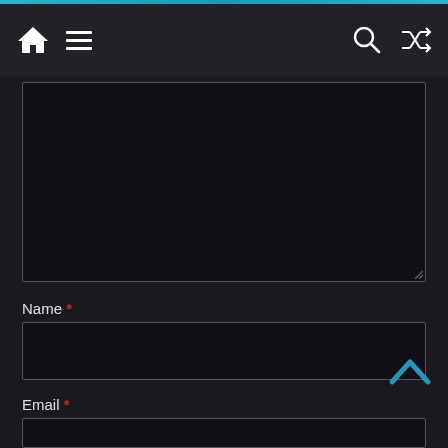[Figure (screenshot): Dark-themed website navigation bar with home icon, hamburger menu on left, and search and shuffle icons on right, with a teal accent bar at top]
[Figure (screenshot): Dark-themed web form textarea (large, mostly empty) with resize handle at bottom right]
Name *
[Figure (screenshot): Dark-themed text input field for Name]
Email *
[Figure (screenshot): Dark-themed text input field for Email (partially visible at bottom)]